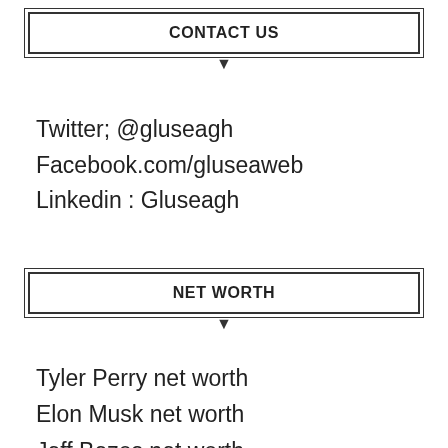CONTACT US
Twitter; @gluseagh
Facebook.com/gluseaweb
Linkedin : Gluseagh
NET WORTH
Tyler Perry net worth
Elon Musk net worth
Jeff Bezos net worth
Ilhan Omar net worth